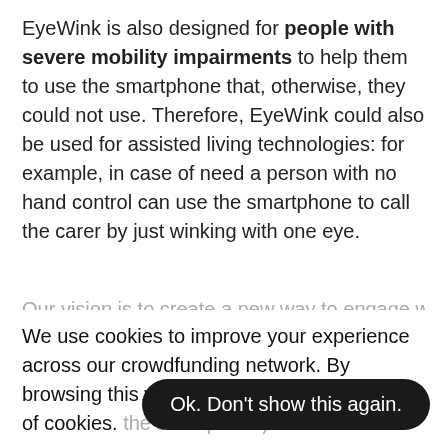EyeWink is also designed for people with severe mobility impairments to help them to use the smartphone that, otherwise, they could not use. Therefore, EyeWink could also be used for assisted living technologies: for example, in case of need a person with no hand control can use the smartphone to call the carer by just winking with one eye.
Our vision is to create a new way to engage with
We use cookies to improve your experience across our crowdfunding network. By browsing this website, you agree to our use of cookies.
Read our Cookie Policy here
(the smartphone) and
technology can be used to change the slides in a presentation or to con
Ok. Don't show this again.